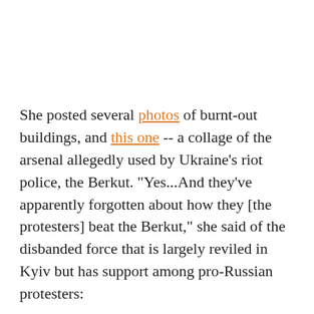She posted several photos of burnt-out buildings, and this one -- a collage of the arsenal allegedly used by Ukraine's riot police, the Berkut. "Yes...And they've apparently forgotten about how they [the protesters] beat the Berkut," she said of the disbanded force that is largely reviled in Kyiv but has support among pro-Russian protesters: